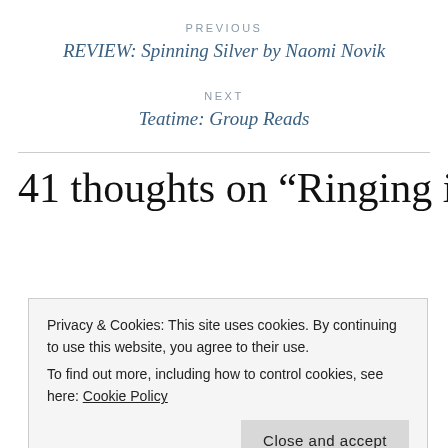PREVIOUS
REVIEW: Spinning Silver by Naomi Novik
NEXT
Teatime: Group Reads
41 thoughts on “Ringing in the New Year
Privacy & Cookies: This site uses cookies. By continuing to use this website, you agree to their use.
To find out more, including how to control cookies, see here: Cookie Policy
Close and accept